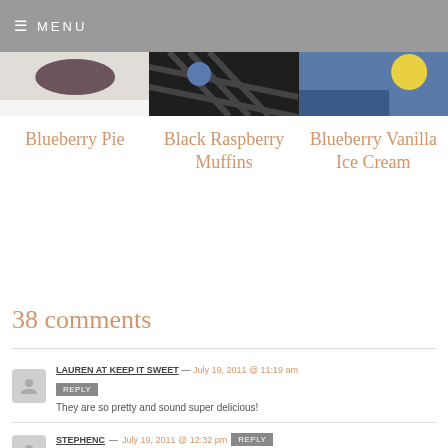MENU
[Figure (photo): Three food photos side by side: Blueberry Pie, Black Raspberry Muffins, Blueberry Vanilla Ice Cream]
Blueberry Pie
Black Raspberry Muffins
Blueberry Vanilla Ice Cream
38 comments
LAUREN AT KEEP IT SWEET — July 19, 2011 @ 11:19 am
REPLY
They are so pretty and sound super delicious!
STEPHENC — July 19, 2011 @ 12:32 pm REPLY